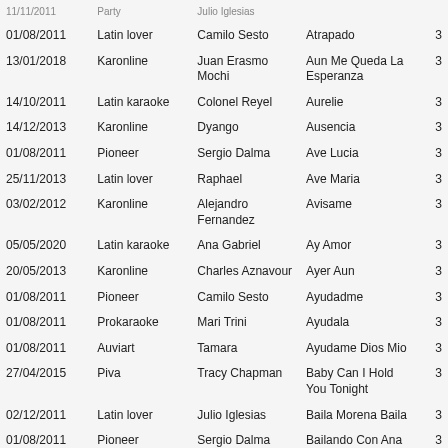| Date | Label | Artist | Song | # |
| --- | --- | --- | --- | --- |
| 01/08/2011 | Latin lover | Camilo Sesto | Atrapado | 3 |
| 13/01/2018 | Karonline | Juan Erasmo Mochi | Aun Me Queda La Esperanza | 3 |
| 14/10/2011 | Latin karaoke | Colonel Reyel | Aurelie | 3 |
| 14/12/2013 | Karonline | Dyango | Ausencia | 3 |
| 01/08/2011 | Pioneer | Sergio Dalma | Ave Lucia | 3 |
| 25/11/2013 | Latin lover | Raphael | Ave Maria | 3 |
| 03/02/2012 | Karonline | Alejandro Fernandez | Avisame | 3 |
| 05/05/2020 | Latin karaoke | Ana Gabriel | Ay Amor | 3 |
| 20/05/2013 | Karonline | Charles Aznavour | Ayer Aun | 3 |
| 01/08/2011 | Pioneer | Camilo Sesto | Ayudadme | 3 |
| 01/08/2011 | Prokaraoke | Mari Trini | Ayudala | 3 |
| 01/08/2011 | Auviart | Tamara | Ayudame Dios Mio | 3 |
| 27/04/2015 | Piva | Tracy Chapman | Baby Can I Hold You Tonight | 3 |
| 02/12/2011 | Latin lover | Julio Iglesias | Baila Morena Baila | 3 |
| 01/08/2011 | Pioneer | Sergio Dalma | Bailando Con Ana | 3 |
| 01/08/2011 | Pioneer | Sergio Dalma | Bailar Pegados | 3 |
| 25/11/2013 | Latin lover | Raphael | Balada De La Trompeta | 3 |